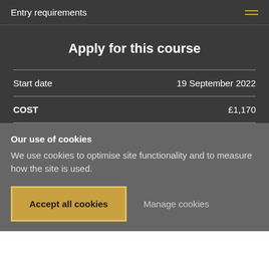Entry requirements
Apply for this course
|  |  |
| --- | --- |
| Start date | 19 September 2022 |
| COST | £1,170 |
Our use of cookies
We use cookies to optimise site functionality and to measure how the site is used.
Accept all cookies
Manage cookies